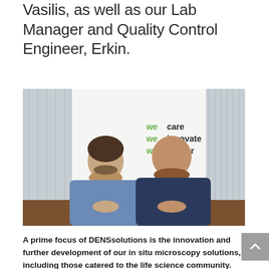Vasilis, as well as our Lab Manager and Quality Control Engineer, Erkin.
[Figure (photo): Two men sitting at a table in front of a wall with text reading 'we care we innovate we deliver' in green and black.]
A prime focus of DENSsolutions is the innovation and further development of our in situ microscopy solutions, including those catered to the life science community. With this goal in mind, we wanted to expand our team with someone who could lead the